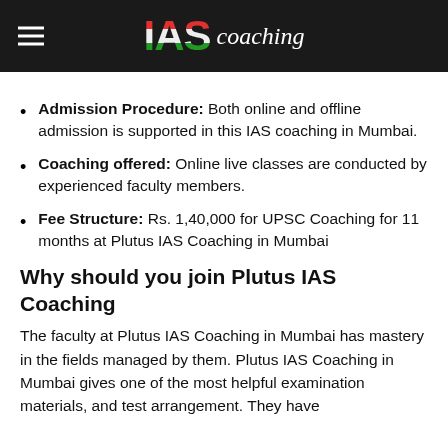IAS coaching
Admission Procedure: Both online and offline admission is supported in this IAS coaching in Mumbai.
Coaching offered: Online live classes are conducted by experienced faculty members.
Fee Structure: Rs. 1,40,000 for UPSC Coaching for 11 months at Plutus IAS Coaching in Mumbai
Why should you join Plutus IAS Coaching
The faculty at Plutus IAS Coaching in Mumbai has mastery in the fields managed by them. Plutus IAS Coaching in Mumbai gives one of the most helpful examination materials, and test arrangement. They have